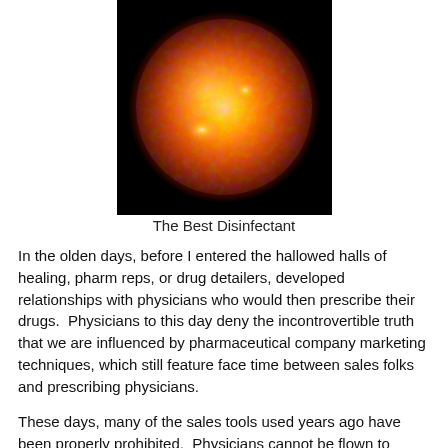[Figure (photo): Close-up photograph of the sun showing a bright orange glowing sphere against a black background, representing sunlight as a disinfectant.]
The Best Disinfectant
In the olden days, before I entered the hallowed halls of healing, pharm reps, or drug detailers, developed relationships with physicians who would then prescribe their drugs.  Physicians to this day deny the incontrovertible truth that we are influenced by pharmaceutical company marketing techniques, which still feature face time between sales folks and prescribing physicians.
These days, many of the sales tools used years ago have been properly prohibited.  Physicians cannot be flown to exotic locales and paid big bucks so they can serve as 'expert consultants' who will be subjected to push polling on the new pharmaceutical product.  (Why didn't any company